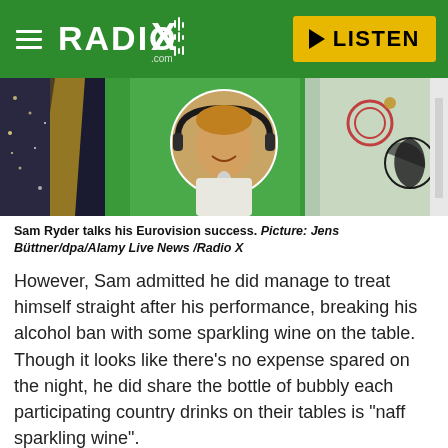Radio X — LISTEN
[Figure (photo): Sam Ryder talks his Eurovision success. A circular portrait of a man with headphones and microphone against a green background, flanked by performers in costume.]
Sam Ryder talks his Eurovision success. Picture: Jens Büttner/dpa/Alamy Live News /Radio X
However, Sam admitted he did manage to treat himself straight after his performance, breaking his alcohol ban with some sparkling wine on the table. Though it looks like there's no expense spared on the night, he did share the bottle of bubbly each participating country drinks on their tables is "naff sparkling wine".
"I did have a few on Saturday night... That's why I